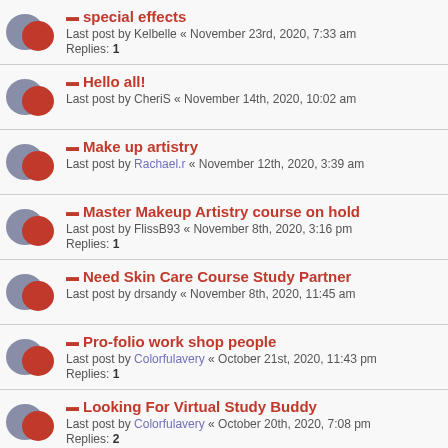special effects | Last post by Kelbelle « November 23rd, 2020, 7:33 am | Replies: 1
Hello all! | Last post by CheriS « November 14th, 2020, 10:02 am
Make up artistry | Last post by Rachael.r « November 12th, 2020, 3:39 am
Master Makeup Artistry course on hold | Last post by FlissB93 « November 8th, 2020, 3:16 pm | Replies: 1
Need Skin Care Course Study Partner | Last post by drsandy « November 8th, 2020, 11:45 am
Pro-folio work shop people | Last post by Colorfulavery « October 21st, 2020, 11:43 pm | Replies: 1
Looking For Virtual Study Buddy | Last post by Colorfulavery « October 20th, 2020, 7:08 pm | Replies: 2
From Philadelphia | Last post by Colorfulavery « October 20th, 2020, 7:07 pm